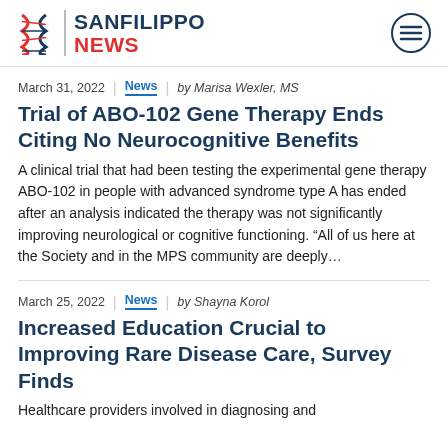SANFILIPPO NEWS
March 31, 2022 | News | by Marisa Wexler, MS
Trial of ABO-102 Gene Therapy Ends Citing No Neurocognitive Benefits
A clinical trial that had been testing the experimental gene therapy ABO-102 in people with advanced syndrome type A has ended after an analysis indicated the therapy was not significantly improving neurological or cognitive functioning. “All of us here at the Society and in the MPS community are deeply…
March 25, 2022 | News | by Shayna Korol
Increased Education Crucial to Improving Rare Disease Care, Survey Finds
Healthcare providers involved in diagnosing and